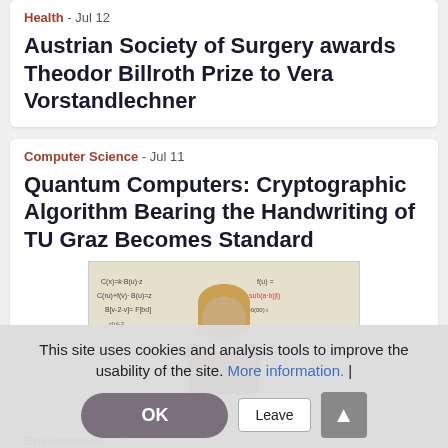Health - Jul 12
Austrian Society of Surgery awards Theodor Billroth Prize to Vera Vorstandlechner
Computer Science - Jul 11
Quantum Computers: Cryptographic Algorithm Bearing the Handwriting of TU Graz Becomes Standard
[Figure (photo): Man with long blond hair standing in front of a whiteboard covered in mathematical equations]
This site uses cookies and analysis tools to improve the usability of the site. More information. |
Environment - Jul 7